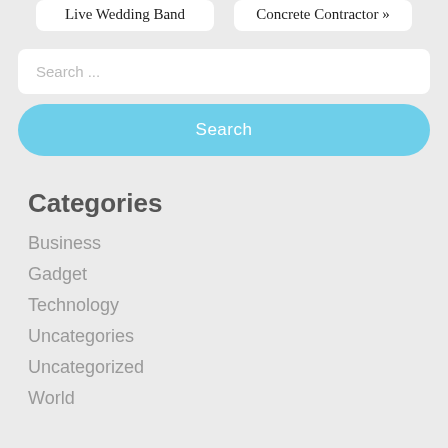Live Wedding Band
Concrete Contractor »
Search ...
Search
Categories
Business
Gadget
Technology
Uncategories
Uncategorized
World